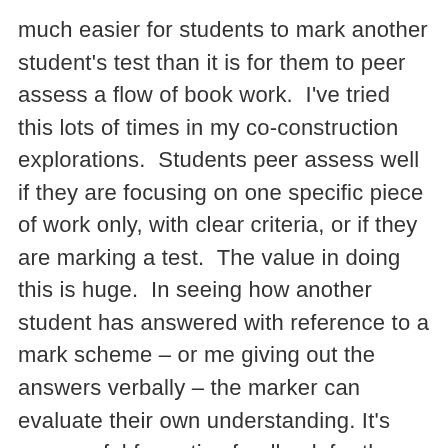much easier for students to mark another student's test than it is for them to peer assess a flow of book work.  I've tried this lots of times in my co-construction explorations.  Students peer assess well if they are focusing on one specific piece of work only, with clear criteria, or if they are marking a test.  The value in doing this is huge.  In seeing how another student has answered with reference to a mark scheme – or me giving out the answers verbally – the marker can evaluate their own understanding.  It's very useful formative feedback for them too.